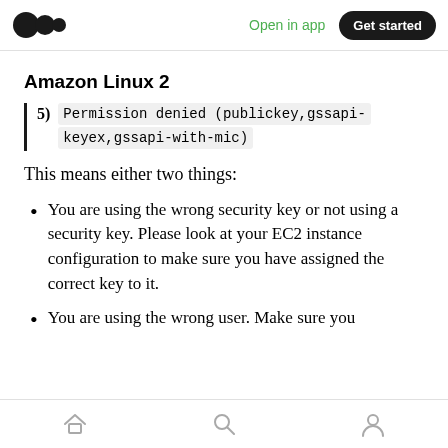Open in app | Get started
Amazon Linux 2
5) Permission denied (publickey,gssapi-keyex,gssapi-with-mic)
This means either two things:
You are using the wrong security key or not using a security key. Please look at your EC2 instance configuration to make sure you have assigned the correct key to it.
You are using the wrong user. Make sure you
Home | Search | Profile